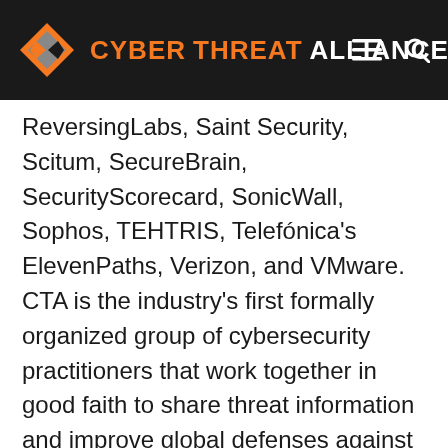CYBER THREAT ALLIANCE
ReversingLabs, Saint Security, Scitum, SecureBrain, SecurityScorecard, SonicWall, Sophos, TEHTRIS, Telefónica's ElevenPaths, Verizon, and VMware. CTA is the industry's first formally organized group of cybersecurity practitioners that work together in good faith to share threat information and improve global defenses against advanced cyber adversaries. CTA's mission is to facilitate the sharing of actionable intelligence and situational awareness about sophisticated cyber threats to improve its members' cyber defenses, more effectively disrupt malicious cyber actors